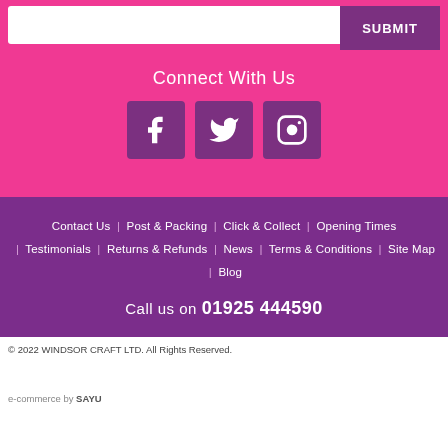[Figure (screenshot): Input box and SUBMIT button on pink background]
Connect With Us
[Figure (infographic): Three social media icons: Facebook, Twitter, Instagram on purple square backgrounds]
Contact Us | Post & Packing | Click & Collect | Opening Times | Testimonials | Returns & Refunds | News | Terms & Conditions | Site Map | Blog
Call us on 01925 444590
© 2022 WINDSOR CRAFT LTD. All Rights Reserved.
e-commerce by SAYU